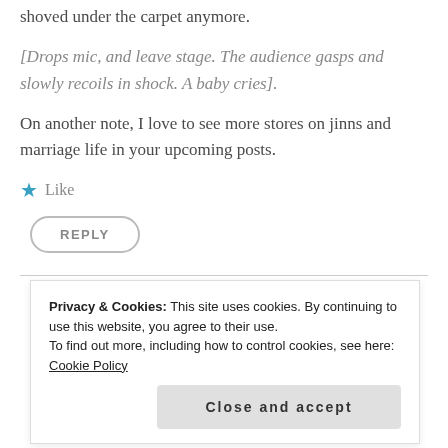shoved under the carpet anymore.
[Drops mic, and leave stage. The audience gasps and slowly recoils in shock. A baby cries].
On another note, I love to see more stores on jinns and marriage life in your upcoming posts.
Like
REPLY
Privacy & Cookies: This site uses cookies. By continuing to use this website, you agree to their use. To find out more, including how to control cookies, see here: Cookie Policy
Close and accept
my attention, what are you proposing?